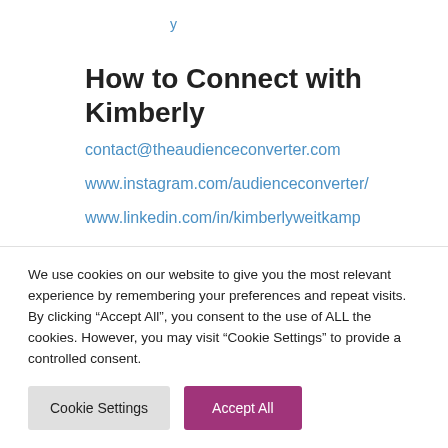How to Connect with Kimberly
contact@theaudienceconverter.com
www.instagram.com/audienceconverter/
www.linkedin.com/in/kimberlyweitkamp
We use cookies on our website to give you the most relevant experience by remembering your preferences and repeat visits. By clicking “Accept All”, you consent to the use of ALL the cookies. However, you may visit “Cookie Settings” to provide a controlled consent.